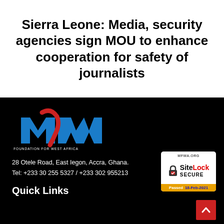Sierra Leone: Media, security agencies sign MOU to enhance cooperation for safety of journalists
[Figure (logo): MFWA (Media Foundation for West Africa) logo — blue M and WA letters with a red curved stroke forming the F, with text 'MEDIA FOUNDATION FOR WEST AFRICA' below]
28 Otele Road, East Iegon, Accra, Ghana.
Tel: +233 30 255 5327 / +233 302 955213
[Figure (other): SiteLock SECURE badge. MFWA.ORG at top, padlock icon, SiteLock SECURE text, Passed 18-Feb-2021 at bottom on orange/gold background]
Quick Links